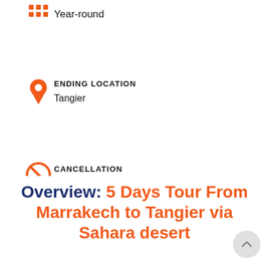[Figure (infographic): Orange calendar/grid icon in top-left area]
Year-round
[Figure (infographic): Orange location pin icon]
ENDING LOCATION
Tangier
[Figure (infographic): Orange no/cancellation circle icon]
CANCELLATION
Free
Overview: 5 Days Tour From Marrakech to Tangier via Sahara desert